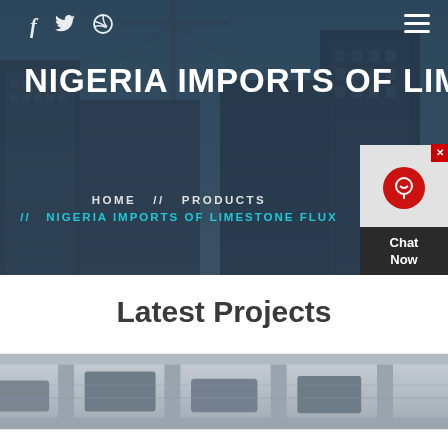[Figure (screenshot): Hero banner with construction/city background, social icons (f, twitter bird, dribbble), hamburger menu, large white bold title 'NIGERIA IMPORTS OF LIMESTO[NE]', breadcrumb navigation HOME // PRODUCTS // NIGERIA IMPORTS OF LIMESTONE FLUX, and a red chat widget in bottom-right corner.]
Latest Projects
[Figure (photo): Industrial/construction machinery photo showing equipment inside a building or factory.]